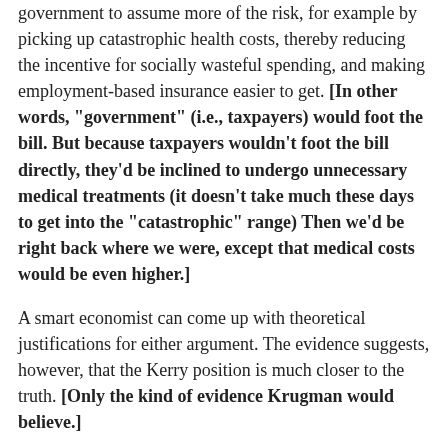government to assume more of the risk, for example by picking up catastrophic health costs, thereby reducing the incentive for socially wasteful spending, and making employment-based insurance easier to get. [In other words, "government" (i.e., taxpayers) would foot the bill. But because taxpayers wouldn't foot the bill directly, they'd be inclined to undergo unnecessary medical treatments (it doesn't take much these days to get into the "catastrophic" range) Then we'd be right back where we were, except that medical costs would be even higher.]
A smart economist can come up with theoretical justifications for either argument. The evidence suggests, however, that the Kerry position is much closer to the truth. [Only the kind of evidence Krugman would believe.]
The fact is that the mainly private U.S. health care system spends far more than the mainly